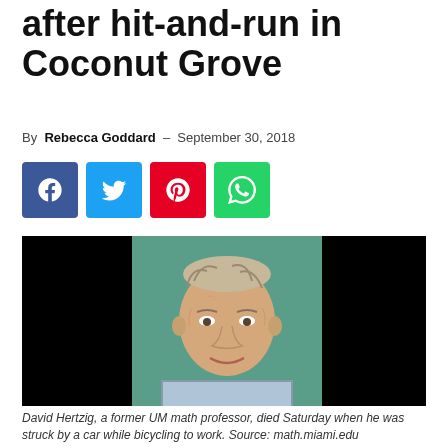after hit-and-run in Coconut Grove
By Rebecca Goddard – September 30, 2018
[Figure (other): Social media share buttons: Facebook (blue), Twitter (light blue), Pinterest (red), WhatsApp (green)]
[Figure (photo): Portrait photo of David Hertzig, an elderly man with sparse white hair, smiling slightly, wearing a plaid shirt, against a teal/green background. The left and right sides of the image are blacked out.]
David Hertzig, a former UM math professor, died Saturday when he was struck by a car while bicycling to work. Source: math.miami.edu